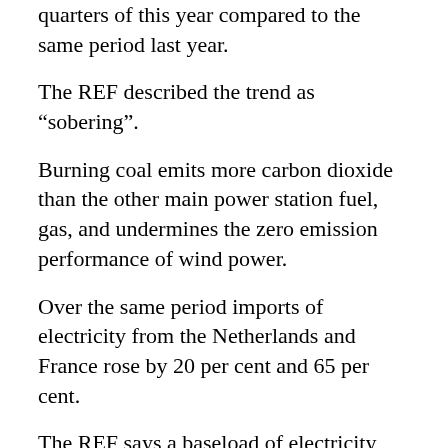quarters of this year compared to the same period last year.
The REF described the trend as “sobering”.
Burning coal emits more carbon dioxide than the other main power station fuel, gas, and undermines the zero emission performance of wind power.
Over the same period imports of electricity from the Netherlands and France rose by 20 per cent and 65 per cent.
The REF says a baseload of electricity has to be produced by conventional power stations to cope with the vagaries of wind.
And the power industry is turning to coal because gas is becoming more expensive.
REF Planning director Dr Lee Moroney said: “The increasing dependence on coal and the striking share of demand now met by imports from neighbouring countries is a dominant theme that the critical examination is